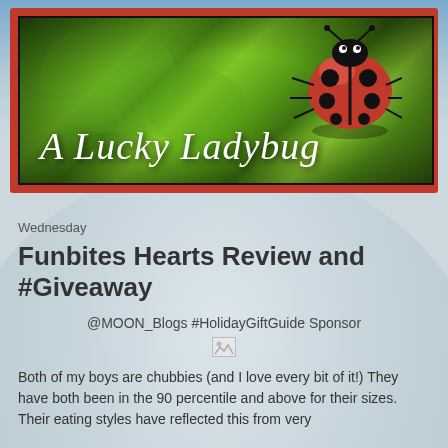[Figure (logo): A Lucky Ladybug blog banner — dark green textured background with a red ladybug on the right side and cursive white text reading 'A Lucky Ladybug'. Framed with a red border.]
Wednesday
Funbites Hearts Review and #Giveaway
@MOON_Blogs #HolidayGiftGuide Sponsor
Both of my boys are chubbies (and I love every bit of it!) They have both been in the 90 percentile and above for their sizes.  Their eating styles have reflected this from very